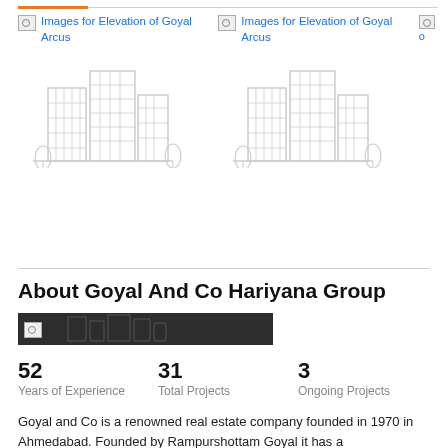[Figure (screenshot): Two image placeholders labeled 'Images for Elevation of Goyal Arcus' with building/skyscraper icons beneath them, and a partial third image on the right edge]
About Goyal And Co Hariyana Group
[Figure (photo): A dark horizontal banner/logo image for the company]
52
Years of Experience
31
Total Projects
3
Ongoing Projects
Goyal and Co is a renowned real estate company founded in 1970 in Ahmedabad. Founded by Rampurshottam Goyal it has a